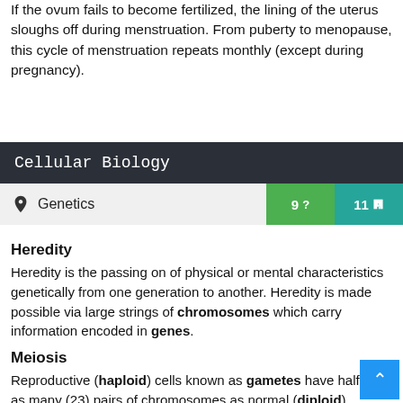If the ovum fails to become fertilized, the lining of the uterus sloughs off during menstruation. From puberty to menopause, this cycle of menstruation repeats monthly (except during pregnancy).
Cellular Biology
Genetics  9 ?  11 🪪
Heredity
Heredity is the passing on of physical or mental characteristics genetically from one generation to another. Heredity is made possible via large strings of chromosomes which carry information encoded in genes.
Meiosis
Reproductive (haploid) cells known as gametes have half as many (23) pairs of chromosomes as normal (diploid)